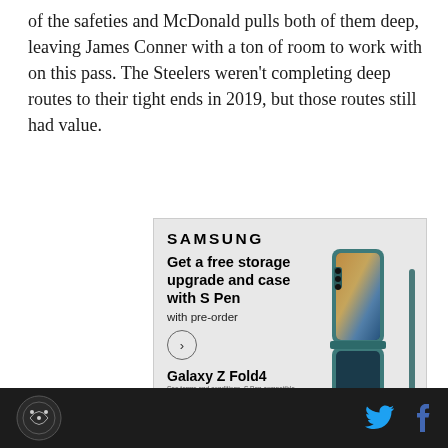of the safeties and McDonald pulls both of them deep, leaving James Conner with a ton of room to work with on this pass. The Steelers weren't completing deep routes to their tight ends in 2019, but those routes still had value.
[Figure (screenshot): Samsung advertisement for Galaxy Z Fold4 with text 'Get a free storage upgrade and case with S Pen with pre-order', showing the phone with an S Pen]
SB Nation logo | Twitter icon | Facebook icon